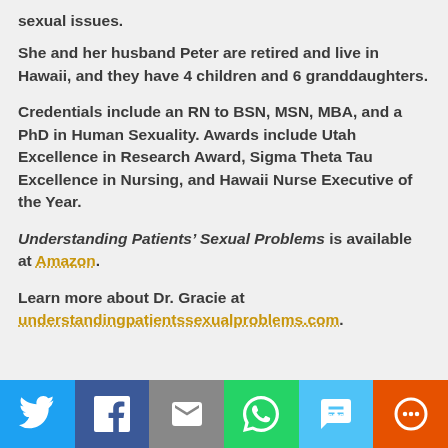sexual issues.
She and her husband Peter are retired and live in Hawaii, and they have 4 children and 6 granddaughters.
Credentials include an RN to BSN, MSN, MBA, and a PhD in Human Sexuality. Awards include Utah Excellence in Research Award, Sigma Theta Tau Excellence in Nursing, and Hawaii Nurse Executive of the Year.
Understanding Patients’ Sexual Problems is available at Amazon.
Learn more about Dr. Gracie at understandingpatientssexualproblems.com.
[Figure (infographic): Social share bar with Twitter, Facebook, Email, WhatsApp, SMS, and More buttons]